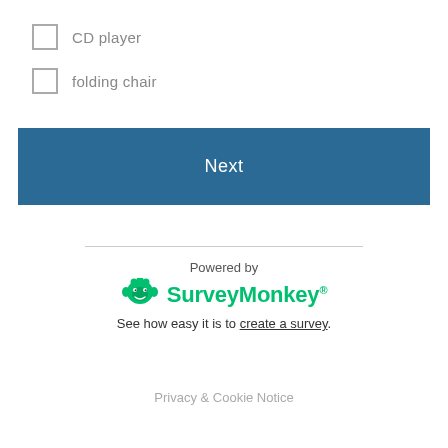CD player
folding chair
Next
Powered by
[Figure (logo): SurveyMonkey logo with green monkey icon and green text]
See how easy it is to create a survey.
Privacy & Cookie Notice